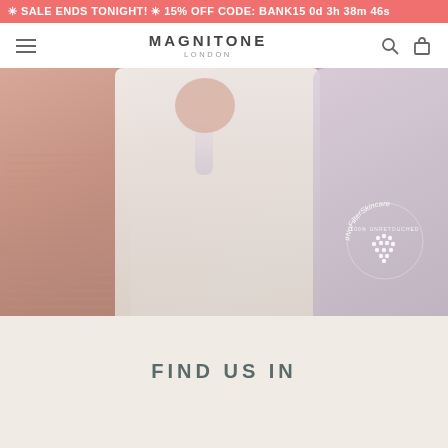✳ SALE ENDS TONIGHT! ✳ 15% OFF CODE: BANK15 0d 3h 38m 46s
MAGNITONE LONDON
[Figure (photo): Three women posing together, one holding a Magnitone skincare device. The woman on the left wears a pink knitwear top, the woman in the center wears a white sweater, and the woman on the right wears a lavender blazer. A circular NoFilterSkincare logo with dots and the text '100% UNRETOUCHED' appears in the lower right of the image.]
FIND US IN